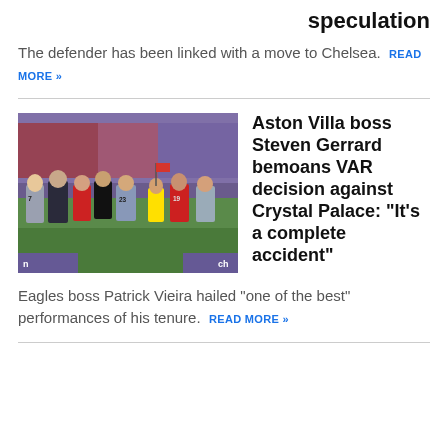speculation
The defender has been linked with a move to Chelsea. READ MORE »
Aston Villa boss Steven Gerrard bemoans VAR decision against Crystal Palace: “It’s a complete accident”
[Figure (photo): Football match scene with players from Crystal Palace (red/blue) and another team (grey/blue), referee, and a linesman holding a flag, on a football pitch with crowd in background.]
Eagles boss Patrick Vieira hailed “one of the best” performances of his tenure. READ MORE »